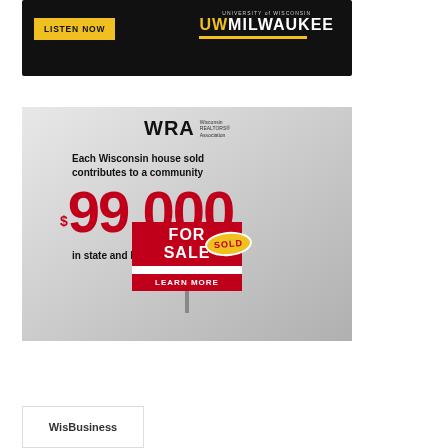[Figure (illustration): UW Milwaukee advertisement with 'LISTEN NOW' yellow button and UW-Milwaukee logo on black background]
[Figure (illustration): Wisconsin Realtors Association (WRA) advertisement: 'Each Wisconsin house sold contributes to a community $99,000 in state and local tax revenues.' with a FOR SALE/SOLD sign and LEARN MORE button]
WisBusiness